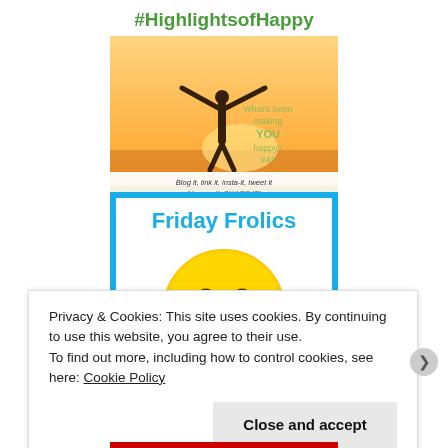[Figure (illustration): #HighlightsofHappy banner image: silhouette of person with arms outstretched against sunset, with text 'What's been making YOU happy? #43', 'Blog it, link it, insta-it, tweet it. Above all, SHARE IT!']
[Figure (illustration): Friday Frolics banner image: blue/white background with large laughing/crying emoji face, text 'Friday Frolics', 'lifeloveandirtydishes.com', 'risforhappit.uk', 'The Linky with the giggles']
Privacy & Cookies: This site uses cookies. By continuing to use this website, you agree to their use.
To find out more, including how to control cookies, see here: Cookie Policy
Close and accept